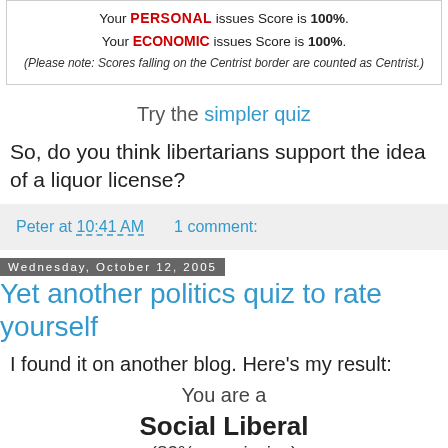Your PERSONAL issues Score is 100%. Your ECONOMIC issues Score is 100%. (Please note: Scores falling on the Centrist border are counted as Centrist.)
Try the simpler quiz
So, do you think libertarians support the idea of a liquor license?
Peter at 10:41 AM   1 comment:
Wednesday, October 12, 2005
Yet another politics quiz to rate yourself
I found it on another blog. Here's my result:
You are a
Social Liberal
(80% permissive)